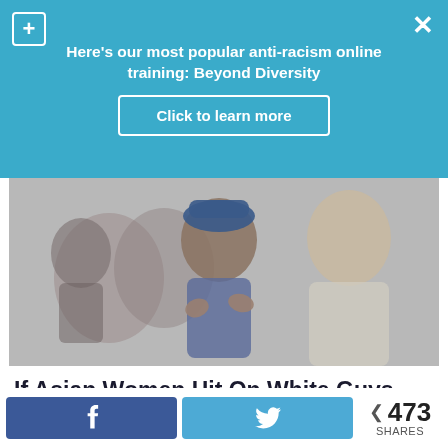Here's our most popular anti-racism online training: Beyond Diversity
Click to learn more
[Figure (photo): Two people in conversation, one an Asian woman gesturing with hands, the other a white man facing her, in a dimly lit indoor setting]
If Asian Women Hit On White Guys the Way White Guys Hit On Asian Women
< 473 SHARES